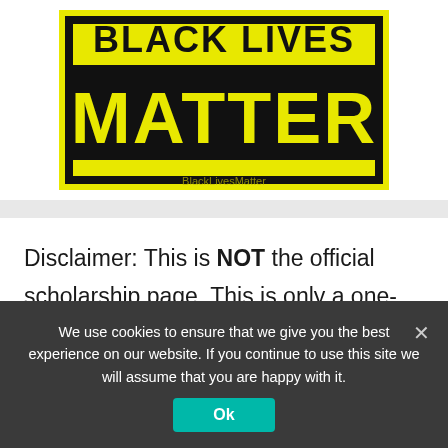[Figure (illustration): Black Lives Matter logo on yellow background with bold black text 'MATTER' visible and 'BLACK LIVES' partially cropped at top]
Disclaimer: This is NOT the official scholarship page. This is only a one-page summarized listing of the scholarship. While we endeavor to keep the information up to date and correct, information may change at any time without notice. For complete and updated information, please always refer to the
We use cookies to ensure that we give you the best experience on our website. If you continue to use this site we will assume that you are happy with it.